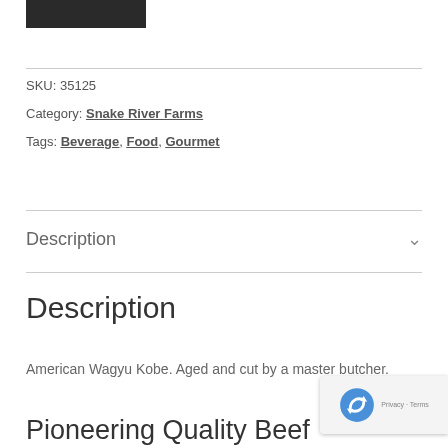[Figure (screenshot): Dark/black image block (partial product image)]
SKU: 35125
Category: Snake River Farms
Tags: Beverage, Food, Gourmet
Description
Description
American Wagyu Kobe. Aged and cut by a master butcher.
Pioneering Quality Beef